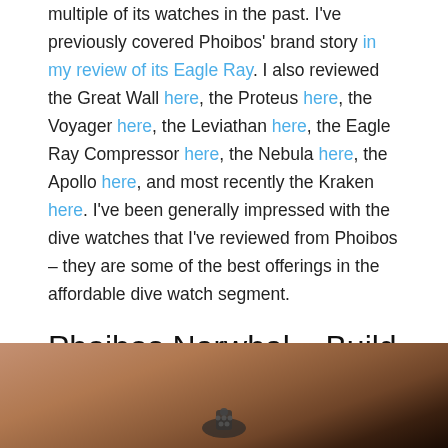multiple of its watches in the past. I've previously covered Phoibos' brand story in my review of its Eagle Ray. I also reviewed the Great Wall here, the Proteus here, the Voyager here, the Leviathan here, the Eagle Ray Compressor here, the Nebula here, the Apollo here, and most recently the Kraken here. I've been generally impressed with the dive watches that I've reviewed from Phoibos – they are some of the best offerings in the affordable dive watch segment.
Phoibos Narwhal – Build Quality
As typical of Phoibos' watches, the build quality of the Narwhal punches above its price point.
[Figure (photo): Close-up photo of a watch crown against a warm brown/copper textured background, partially cut off at the bottom of the page.]